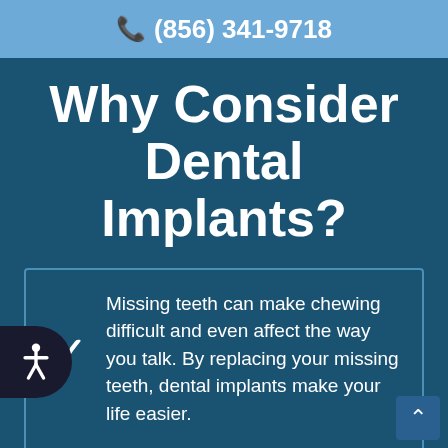📞 (856) 341-9718
Why Consider Dental Implants?
Missing teeth can make chewing difficult and even affect the way you talk. By replacing your missing teeth, dental implants make your life easier.